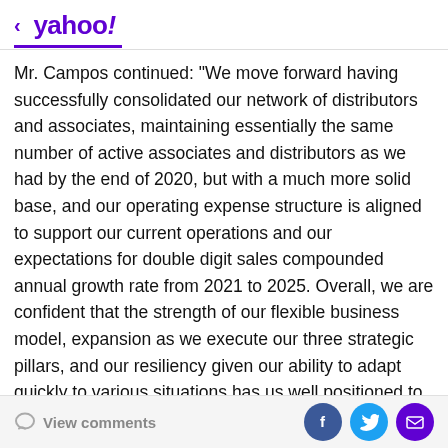< yahoo!
Mr. Campos continued: "We move forward having successfully consolidated our network of distributors and associates, maintaining essentially the same number of active associates and distributors as we had by the end of 2020, but with a much more solid base, and our operating expense structure is aligned to support our current operations and our expectations for double digit sales compounded annual growth rate from 2021 to 2025. Overall, we are confident that the strength of our flexible business model, expansion as we execute our three strategic pillars, and our resiliency given our ability to adapt quickly to various situations has us well positioned to achieve our goals of doubling our
View comments